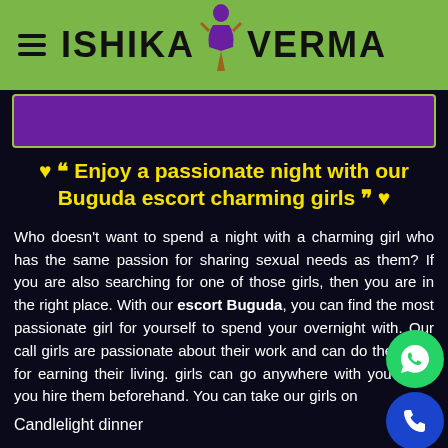ISHIKA VERMA
❤️ ““ Enjoy a passionate night with our Buguda escort charming girls ”” ❤️
Who doesn't want to spend a night with a charming girl who has the same passion for sharing sexual needs as them? If you are also searching for one of those girls, then you are in the right place. With our escort Buguda, you can find the most passionate girl for yourself to spend your overnight with. Our call girls are passionate about their work and can do their jobs for earning their living. girls can go anywhere with you when you hire them beforehand. You can take our girls on
Candlelight dinner